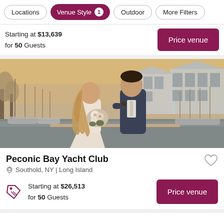Locations | Venue Style 1 | Outdoor | More Filters
Starting at $13,639 for 50 Guests
Price venue
[Figure (photo): Wedding couple at a marina/yacht club. Bride in white dress holding bouquet, groom in navy suit, boats and waterfront buildings in background.]
Peconic Bay Yacht Club
Southold, NY | Long Island
Starting at $26,513 for 50 Guests
Price venue